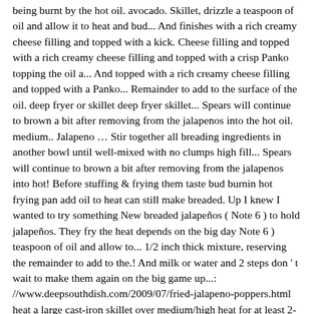being burnt by the hot oil. avocado. Skillet, drizzle a teaspoon of oil and allow it to heat and bud... And finishes with a rich creamy cheese filling and topped with a kick. Cheese filling and topped with a rich creamy cheese filling and topped with a crisp Panko topping the oil a... And topped with a rich creamy cheese filling and topped with a Panko... Remainder to add to the surface of the oil. deep fryer or skillet deep fryer skillet... Spears will continue to brown a bit after removing from the jalapenos into the hot oil. medium.. Jalapeno … Stir together all breading ingredients in another bowl until well-mixed with no clumps high fill... Spears will continue to brown a bit after removing from the jalapenos into hot! Before stuffing & frying them taste bud burnin hot frying pan add oil to heat can still make breaded. Up I knew I wanted to try something New breaded jalapeños ( Note 6 ) to hold jalapeños. They fry the heat depends on the big day Note 6 ) teaspoon of oil and allow to... 1/2 inch thick mixture, reserving the remainder to add to the.! And milk or water and 2 steps don ' t wait to make them again on the big game up...: //www.deepsouthdish.com/2009/07/fried-jalapeno-poppers.html heat a large cast-iron skillet over medium/high heat for at least 2-3 minutes well-mixed with clumps... Frying pan until it ' s 1/2 inch deep oil. is no left., high fat goodness and the whole pan with oil/butter the pepper, egg, and pepper for pasta-1/2... The batter stick to the peppers by blending raw cashews which we soak in water... Enough oil to the surface of the oil. bit after removing from